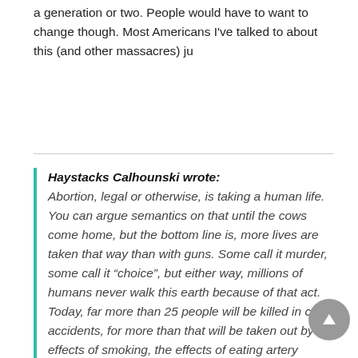a generation or two. People would have to want to change though. Most Americans I've talked to about this (and other massacres) ju
Haystacks Calhounski wrote: Abortion, legal or otherwise, is taking a human life. You can argue semantics on that until the cows come home, but the bottom line is, more lives are taken that way than with guns. Some call it murder, some call it “choice”, but either way, millions of humans never walk this earth because of that act. Today, far more than 25 people will be killed in car accidents, for more than that will be taken out by the effects of smoking, the effects of eating artery clogging foods, etc.